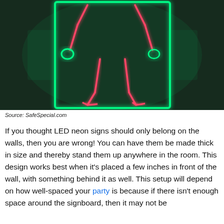[Figure (photo): Neon LED art installation on a dark brick wall — a human figure outline in red/pink neon inside a green neon rectangle frame, glowing against a dark green-tinted background.]
Source: SafeSpecial.com
If you thought LED neon signs should only belong on the walls, then you are wrong! You can have them be made thick in size and thereby stand them up anywhere in the room. This design works best when it's placed a few inches in front of the wall, with something behind it as well. This setup will depend on how well-spaced your party is because if there isn't enough space around the signboard, then it may not be